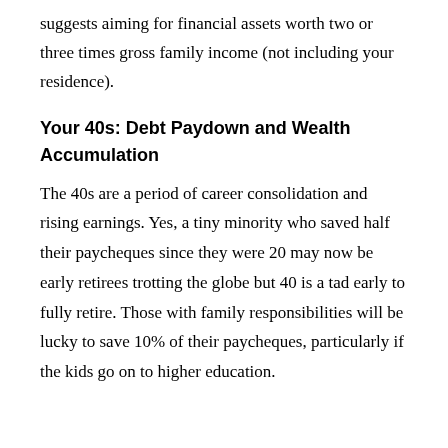suggests aiming for financial assets worth two or three times gross family income (not including your residence).
Your 40s: Debt Paydown and Wealth Accumulation
The 40s are a period of career consolidation and rising earnings. Yes, a tiny minority who saved half their paycheques since they were 20 may now be early retirees trotting the globe but 40 is a tad early to fully retire. Those with family responsibilities will be lucky to save 10% of their paycheques, particularly if the kids go on to higher education.